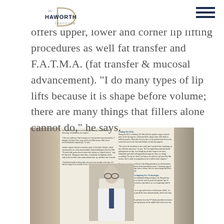[Figure (logo): The Haworth Institute logo with circular design and text]
offers upper, lower and corner lip lifting procedures as well fat transfer and F.A.T.M.A. (fat transfer & mucosal advancement). "I do many types of lip lifts because it is shape before volume; there are many things that fillers alone cannot do," he says.
[Figure (photo): Embedded article page showing a doctor in white coat reviewing documents, with columns of text including sections 'Finding His Niche' and 'Embracing and Investigating New Technologies'. Dark photographic background on sides.]